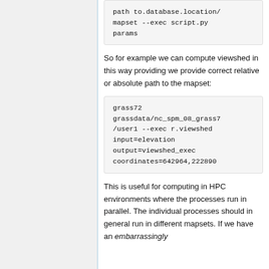path to.database.location/ mapset --exec script.py params
So for example we can compute viewshed in this way providing we provide correct relative or absolute path to the mapset:
grass72 grassdata/nc_spm_08_grass7/user1 --exec r.viewshed input=elevation output=viewshed_exec coordinates=642964,222890
This is useful for computing in HPC environments where the processes run in parallel. The individual processes should in general run in different mapsets. If we have an embarrassingly parallel...